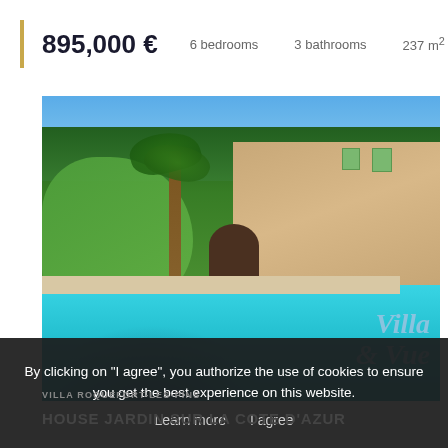895,000 €   6 bedrooms   3 bathrooms   237 m²
[Figure (photo): Exterior photo of a French villa with lush garden, palm trees, ivy-covered stone walls, arched entrance, and a turquoise swimming pool in the foreground. A watermark reads 'Villa & Vue' in italic script.]
By clicking on "I agree", you authorize the use of cookies to ensure you get the best experience on this website.
Learn more    I agree
VILLA ROQUEFORT-LES-PINS
HOUSE JARDIN SUR LA COTE D'AZUR